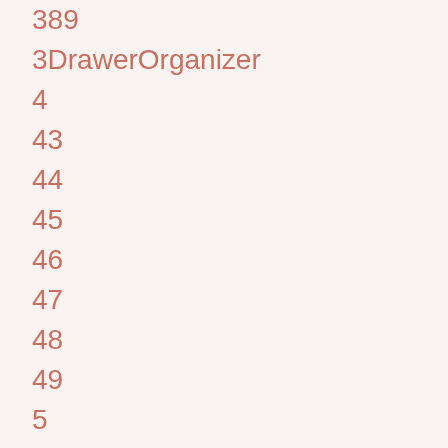389
3DrawerOrganizer
4
43
44
45
46
47
48
49
5
50
505
559